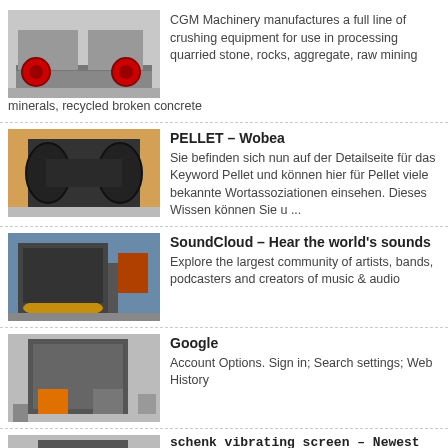[Figure (photo): Industrial crushing machine with red wheels on metal frame]
CGM Machinery manufactures a full line of crushing equipment for use in processing quarried stone, rocks, aggregate, raw mining minerals, recycled broken concrete
[Figure (photo): Industrial jaw crusher machine viewed from side]
PELLET – Wobea
Sie befinden sich nun auf der Detailseite für das Keyword Pellet und können hier für Pellet viele bekannte Wortassoziationen einsehen. Dieses Wissen können Sie u ...
[Figure (photo): Large industrial crushing/grinding machine in factory setting]
SoundCloud – Hear the world's sounds
Explore the largest community of artists, bands, podcasters and creators of music & audio
[Figure (photo): Industrial impact crusher machine]
Google
Account Options. Sign in; Search settings; Web History
[Figure (photo): Industrial jaw crusher with red flywheel]
schenk vibrating screen – Newest Crusher, .
CGM have many different types of grinding mills and many types . vibrating screen crusher unit,